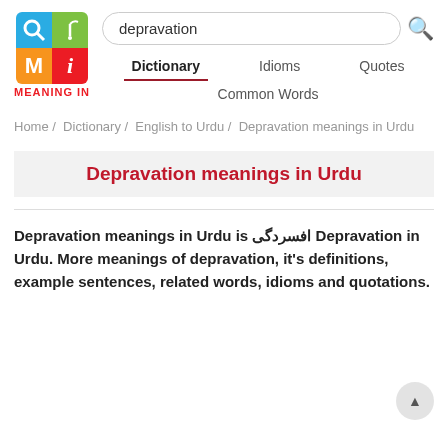[Figure (logo): Meaning In dictionary app logo — 2x2 grid with magnifying glass (blue), plant/sprout (green), M letter (orange), i letter (red), with MEANING IN text below]
depravation (search box)
Dictionary  Idioms  Quotes  Common Words (navigation tabs)
Home / Dictionary / English to Urdu / Depravation meanings in Urdu
Depravation meanings in Urdu
Depravation meanings in Urdu is افسردگی Depravation in Urdu. More meanings of depravation, it's definitions, example sentences, related words, idioms and quotations.